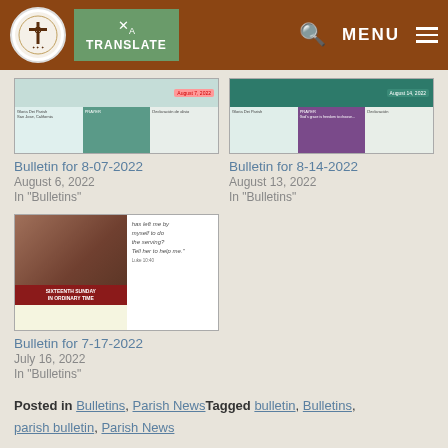TRANSLATE | MENU
[Figure (screenshot): Bulletin thumbnail for 8-07-2022, showing parish bulletin cover with teal/green color scheme]
Bulletin for 8-07-2022
August 6, 2022
In "Bulletins"
[Figure (screenshot): Bulletin thumbnail for 8-14-2022, showing parish bulletin cover with dark teal color scheme]
Bulletin for 8-14-2022
August 13, 2022
In "Bulletins"
[Figure (screenshot): Bulletin thumbnail for 7-17-2022, showing Sixteenth Sunday in Ordinary Time bulletin with painting and quote]
Bulletin for 7-17-2022
July 16, 2022
In "Bulletins"
Posted in Bulletins, Parish NewsTagged bulletin, Bulletins, parish bulletin, Parish News